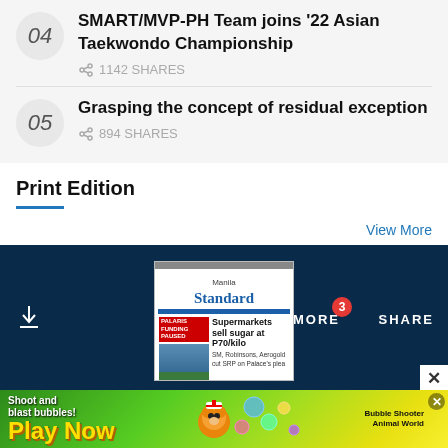04 SMART/MVP-PH Team joins '22 Asian Taekwondo Championship — 1142 SHARES
05 Grasping the concept of residual exception — 894 SHARES
Print Edition
View More
[Figure (screenshot): Dark navy banner with download icon, READ MORE label with red badge showing 3, SHARE label, and Manila Standard newspaper front page preview showing headline 'Supermarkets sell sugar at P70/kilo']
[Figure (infographic): Advertisement banner: 'Shoot and blast bubbles! Play Now — Bubble Shooter Animal World' game ad with green/yellow gradient background, mascot characters]